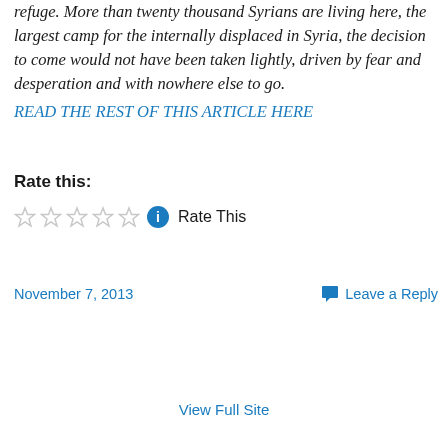refuge. More than twenty thousand Syrians are living here, the largest camp for the internally displaced in Syria, the decision to come would not have been taken lightly, driven by fear and desperation and with nowhere else to go.
READ THE REST OF THIS ARTICLE HERE
Rate this:
[Figure (other): Five empty star rating icons followed by a blue info icon and 'Rate This' text]
November 7, 2013
Leave a Reply
View Full Site